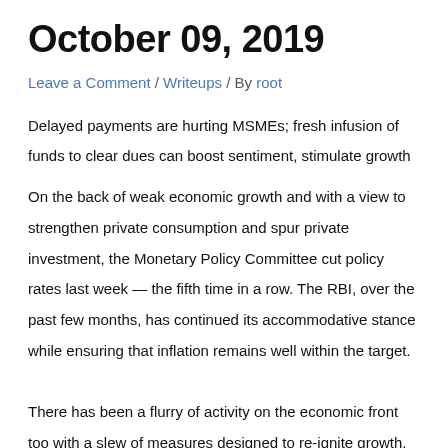October 09, 2019
Leave a Comment / Writeups / By root
Delayed payments are hurting MSMEs; fresh infusion of funds to clear dues can boost sentiment, stimulate growth
On the back of weak economic growth and with a view to strengthen private consumption and spur private investment, the Monetary Policy Committee cut policy rates last week — the fifth time in a row. The RBI, over the past few months, has continued its accommodative stance while ensuring that inflation remains well within the target.
There has been a flurry of activity on the economic front too with a slew of measures designed to re-ignite growth. While these are welcome, a critical factor impeding growth is the absence of liquidity where it is needed, combined with